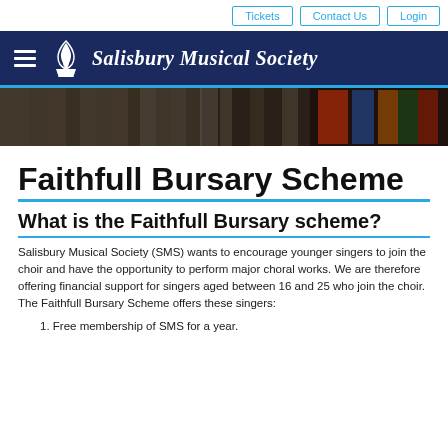Tickets | Contact Us | Login
[Figure (logo): Salisbury Musical Society logo and navigation header with dark navy background, hamburger menu icon, flame/torch icon, and italic white text reading 'Salisbury Musical Society']
[Figure (photo): Interior photo strip of a cathedral showing stone columns and stained glass windows]
Faithfull Bursary Scheme
What is the Faithfull Bursary scheme?
Salisbury Musical Society (SMS) wants to encourage younger singers to join the choir and have the opportunity to perform major choral works. We are therefore offering financial support for singers aged between 16 and 25 who join the choir. The Faithfull Bursary Scheme offers these singers:
Free membership of SMS for a year.